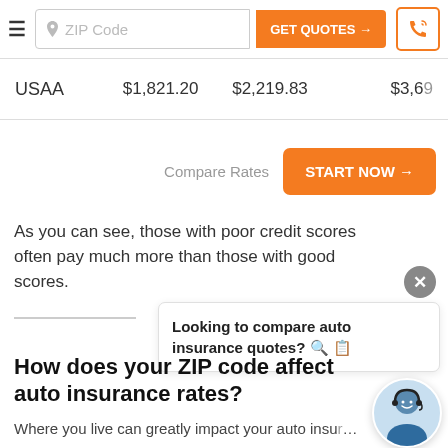ZIP Code | GET QUOTES →
| USAA | $1,821.20 | $2,219.83 | $3,69… |
Compare Rates  START NOW →
As you can see, those with poor credit scores often pay much more than those with good scores.
Looking to compare auto insurance quotes? 🔍 📋
How does your ZIP code affect auto insurance rates?
Where you live can greatly impact your auto insurance rates. Not only the state but the city and ZIP code…